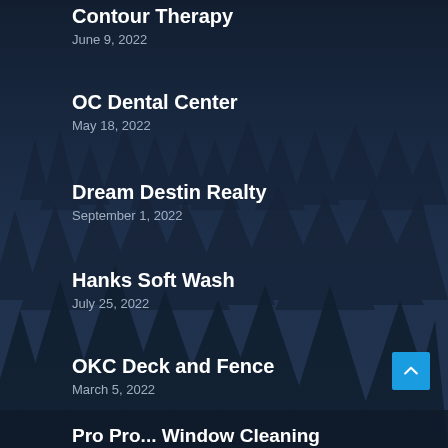Contour Therapy
June 9, 2022
OC Dental Center
May 18, 2022
Dream Destin Realty
September 1, 2022
Hanks Soft Wash
July 25, 2022
OKC Deck and Fence
March 5, 2022
Pro Pro... Window Cleaning (partial)